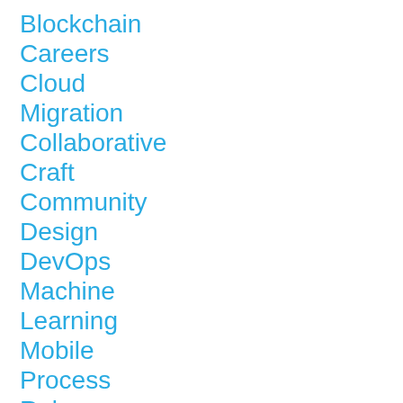Blockchain
Careers
Cloud Migration
Collaborative Craft
Community
Design
DevOps
Machine Learning
Mobile
Process
Ruby on Rails
Training
Web...